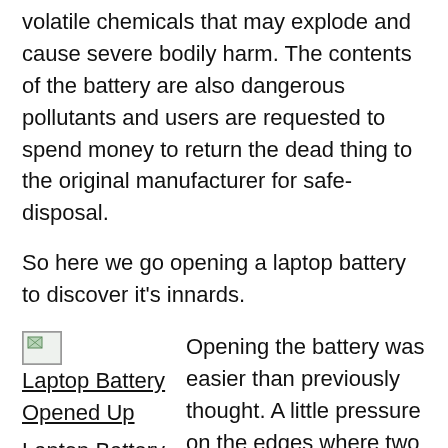volatile chemicals that may explode and cause severe bodily harm. The contents of the battery are also dangerous pollutants and users are requested to spend money to return the dead thing to the original manufacturer for safe-disposal.
So here we go opening a laptop battery to discover it's innards.
[Figure (photo): Laptop Battery Opened Up — placeholder image thumbnail with caption link]
Laptop Battery Opened Up
Opening the battery was easier than previously thought. A little pressure on the edges where two halves of the battery compartment seem to be joined, produced a cracking sound and pink gloss. 10 minutes later,